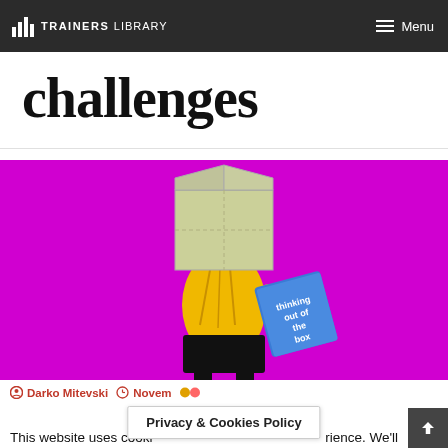TRAINERS LIBRARY | Menu
challenges
[Figure (illustration): Illustrated figure of a person wearing a yellow sweater and black skirt with a cardboard box over their head, holding a blue book titled 'thinking out of the box', against a bright magenta/purple background.]
Darko Mitevski  November  [icons]
This website uses cooki... rience. We'll
Privacy & Cookies Policy